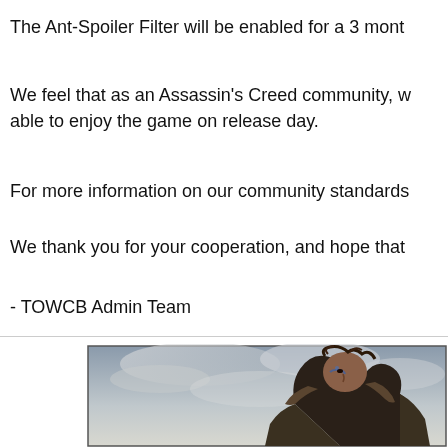The Ant-Spoiler Filter will be enabled for a 3 mont
We feel that as an Assassin's Creed community, w able to enjoy the game on release day.
For more information on our community standards
We thank you for your cooperation, and hope that
- TOWCB Admin Team
[Figure (photo): A warrior character from Assassin's Creed Valhalla with braided hair and face paint, shown against a cloudy sky background.]